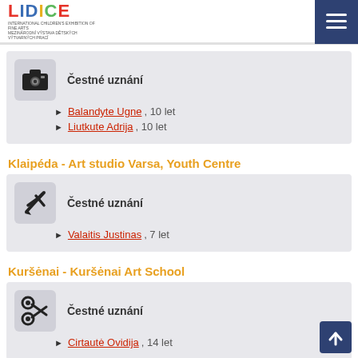LIDICE - header with logo and menu
Čestné uznání
Balandyte Ugne, 10 let
Liutkute Adrija, 10 let
Klaipéda - Art studio Varsa, Youth Centre
Čestné uznání
Valaitis Justinas, 7 let
Kuršėnai - Kuršėnai Art School
Čestné uznání
Cirtautė Ovidija, 14 let